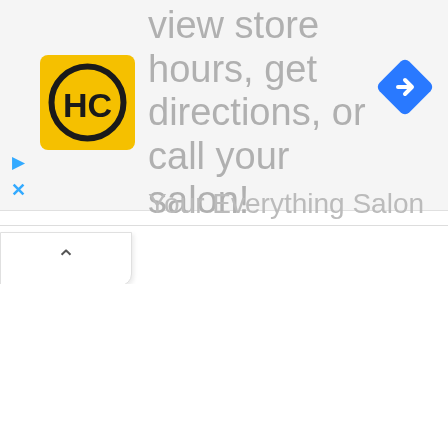[Figure (screenshot): Mobile app screenshot showing a salon locator banner. Includes HC logo (yellow square with black HC circle), a blue navigation/directions diamond icon, text reading 'view store hours, get directions, or call your salon!', subtext 'Your Everything Salon', play and close icons in blue, and a collapse/chevron-up button at the bottom left.]
view store hours, get directions, or call your salon!
Your Everything Salon